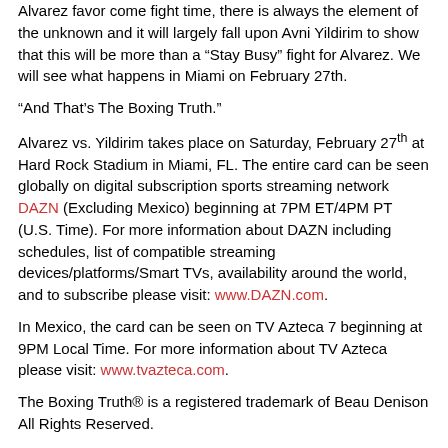Alvarez favor come fight time, there is always the element of the unknown and it will largely fall upon Avni Yildirim to show that this will be more than a “Stay Busy” fight for Alvarez. We will see what happens in Miami on February 27th.
“And That’s The Boxing Truth.”
Alvarez vs. Yildirim takes place on Saturday, February 27th at Hard Rock Stadium in Miami, FL. The entire card can be seen globally on digital subscription sports streaming network DAZN (Excluding Mexico) beginning at 7PM ET/4PM PT (U.S. Time). For more information about DAZN including schedules, list of compatible streaming devices/platforms/Smart TVs, availability around the world, and to subscribe please visit: www.DAZN.com.
In Mexico, the card can be seen on TV Azteca 7 beginning at 9PM Local Time. For more information about TV Azteca please visit: www.tvazteca.com.
The Boxing Truth® is a registered trademark of Beau Denison All Rights Reserved.
Follow Beau Denison on Twitter: www.twitter.com/Beau_Denison